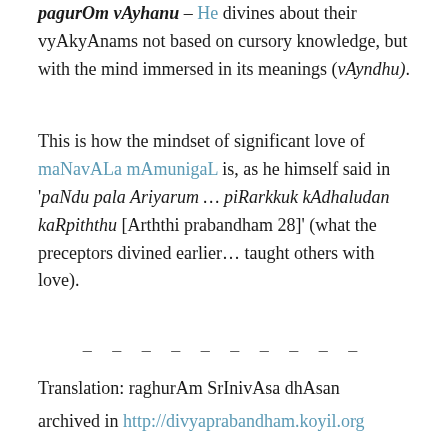pagur Om vAyhanu – He divines about their vyAkyAnams not based on cursory knowledge, but with the mind immersed in its meanings (vAyndhu).
This is how the mindset of significant love of maNavALa mAmunigaL is, as he himself said in 'paNdu pala Ariyarum … piRarkkuk kAdhaludan kaRpiththu [Arththi prabandham 28]' (what the preceptors divined earlier… taught others with love).
– – – – – – – – – –
Translation: raghurAm SrInivAsa dhAsan
archived in http://divyaprabandham.koyil.org
pramEyam (goal) – http://koyil.org
pramANam (scriptures) –
http://SrivaishnavagranthamS.wordpress.com